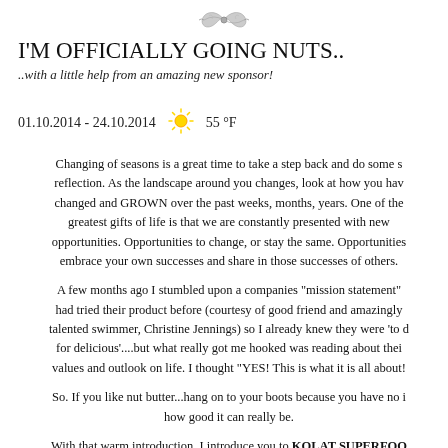[Figure (illustration): Decorative ornamental flourish/divider at the top center of the page]
I'M OFFICIALLY GOING NUTS..
..with a little help from an amazing new sponsor!
01.10.2014 - 24.10.2014 ☀ 55 °F
Changing of seasons is a great time to take a step back and do some s reflection. As the landscape around you changes, look at how you hav changed and GROWN over the past weeks, months, years. One of the greatest gifts of life is that we are constantly presented with new opportunities. Opportunities to change, or stay the same. Opportunities embrace your own successes and share in those successes of others.
A few months ago I stumbled upon a companies "mission statement" had tried their product before (courtesy of good friend and amazingly talented swimmer, Christine Jennings) so I already knew they were 'to d for delicious'....but what really got me hooked was reading about thei values and outlook on life. I thought "YES! This is what it is all about!
So. If you like nut butter...hang on to your boots because you have no i how good it can really be.
With that warm introduction, I introduce you to KOLAT SUPERFOO